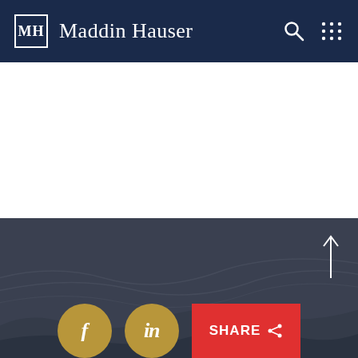Maddin Hauser
[Figure (logo): Maddin Hauser law firm logo with MH monogram in a square bracket, firm name in white serif font on dark navy background, with search icon and grid/menu icon]
[Figure (photo): Dark footer area with abstract wavy lines background, up-arrow scroll button, Facebook circle button (gold), LinkedIn circle button (gold), and red SHARE button]